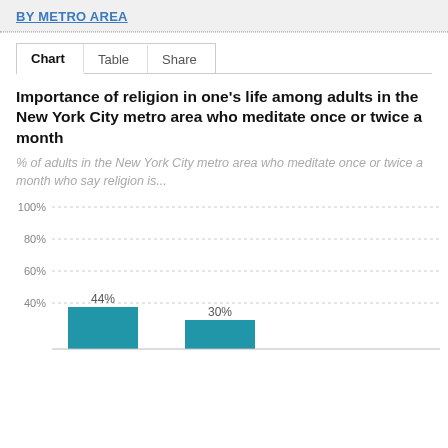BY METRO AREA
Chart | Table | Share
Importance of religion in one's life among adults in the New York City metro area who meditate once or twice a month
% of adults in the New York City metro area who meditate once or twice a month who say religion is...
[Figure (bar-chart): Importance of religion in one's life among adults in the New York City metro area who meditate once or twice a month]